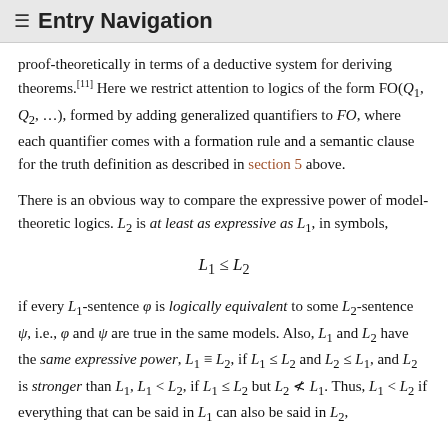≡  Entry Navigation
proof-theoretically in terms of a deductive system for deriving theorems.[11] Here we restrict attention to logics of the form FO(Q₁, Q₂, …), formed by adding generalized quantifiers to FO, where each quantifier comes with a formation rule and a semantic clause for the truth definition as described in section 5 above.
There is an obvious way to compare the expressive power of model-theoretic logics. L₂ is at least as expressive as L₁, in symbols,
if every L₁-sentence φ is logically equivalent to some L₂-sentence ψ, i.e., φ and ψ are true in the same models. Also, L₁ and L₂ have the same expressive power, L₁ ≡ L₂, if L₁ ≤ L₂ and L₂ ≤ L₁, and L₂ is stronger than L₁, L₁ < L₂, if L₁ ≤ L₂ but L₂ ≢ L₁. Thus, L₁ < L₂ if everything that can be said in L₁ can also be said in L₂,